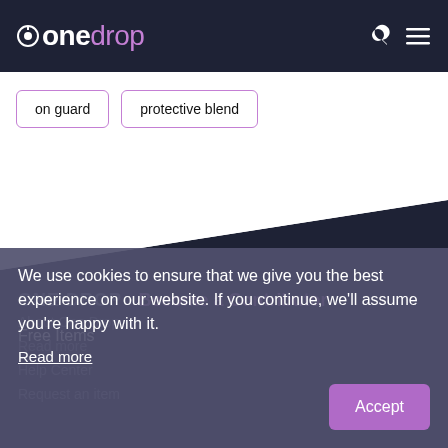onedrop
on guard
protective blend
ONE DROP   Become a Contributor
Free Items
About One Drop
Read more
Help Center
Request an item
We use cookies to ensure that we give you the best experience on our website. If you continue, we'll assume you're happy with it.
Read more
Accept